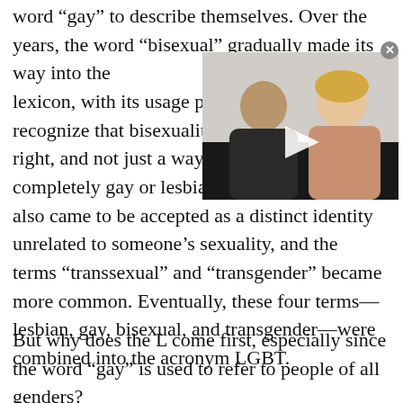word “gay” to describe themselves. Over the years, the word “bisexual” gradually made its way into the lexicon, with its usage picki[ng up as more people] recognize that bisexuality is [a sexual identity in its own] right, and not just a waystat[ion for someone coming out as] completely gay or lesbian. [Being transgender] also came to be accepted as a distinct identity unrelated to someone’s sexuality, and the terms “transsexual” and “transgender” became more common. Eventually, these four terms—lesbian, gay, bisexual, and transgender—were combined into the acronym LGBT.
[Figure (photo): Video thumbnail showing two people (a man and a woman) sitting side by side with a play button overlay, on a dark background with a close/X button in the top-right corner.]
But why does the L come first, especially since the word “gay” is used to refer to people of all genders?